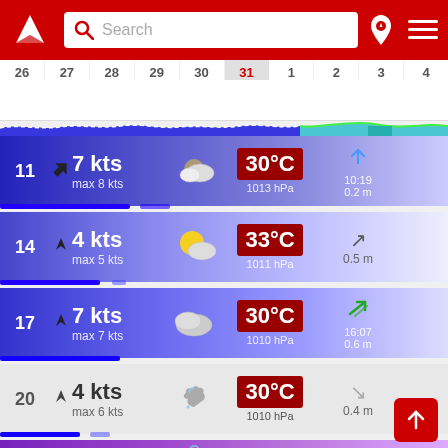[Figure (screenshot): Weather app header with red background, logo, search bar, and nav icons]
[Figure (infographic): Calendar date strip showing dates 26-4 with 31 highlighted as today]
[Figure (infographic): Wave/wind forecast strip chart]
| Time | Wind | Weather | Temp | Tide |
| --- | --- | --- | --- | --- |
| 11 | 7 kts max 8 kts | partly cloudy | 30°C 1013 hPa | 10:19 0.2 m |
| 14 | 4 kts max 5 kts | sunny/cloudy | 33°C 1011 hPa | 0.5 m |
| 17 | 7 kts max 7 kts | cloudy | 30°C 1010 hPa | 16:07 0.6 m |
| 20 | 4 kts max 6 kts | night/cloudy | 30°C 1010 hPa | 0.4 m |
| 23 | 0 kts max 1 kts | moon/rain 0.6 mm | 28°C 1011 hPa | 22:20 0.3 m |